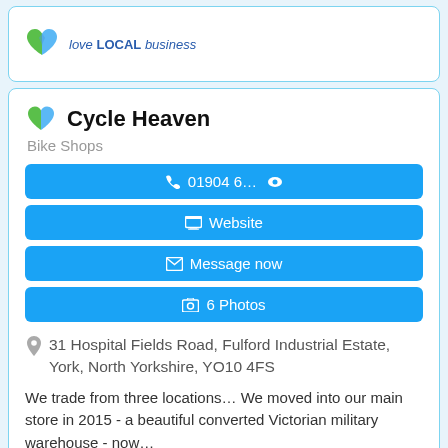[Figure (logo): Love LOCAL business logo with a heart icon and text 'love LOCAL business']
Cycle Heaven
Bike Shops
01904 6... (phone button with eye icon)
Website
Message now
6 Photos
31 Hospital Fields Road, Fulford Industrial Estate, York, North Yorkshire, YO10 4FS
We trade from three locations... We moved into our main store in 2015 - a beautiful converted Victorian military warehouse - now...